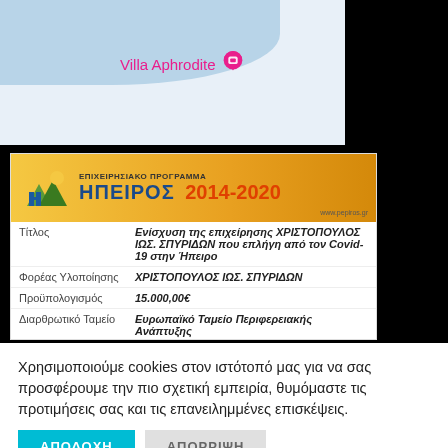[Figure (map): Google Maps screenshot showing Villa Aphrodite location with pink map pin marker on a light blue/grey map background]
[Figure (infographic): EU structural funds program banner: ΕΠΙΧΕΙΡΗΣΙΑΚΟ ΠΡΟΓΡΑΜΜΑ ΗΠΕΙΡΟΣ 2014-2020 with mountain/building logo on gold/orange gradient background]
|  |  |
| --- | --- |
| Τίτλος | Ενίσχυση της επιχείρησης ΧΡΙΣΤΟΠΟΥΛΟΣ ΙΩΣ. ΣΠΥΡΙΔΩΝ που επλήγη από τον Covid-19 στην Ήπειρο |
| Φορέας Υλοποίησης | ΧΡΙΣΤΟΠΟΥΛΟΣ ΙΩΣ. ΣΠΥΡΙΔΩΝ |
| Προϋπολογισμός | 15.000,00€ |
| Διαρθρωτικό Ταμείο | Ευρωπαϊκό Ταμείο Περιφερειακής Ανάπτυξης |
|  | Κεφάλαια κύκλους και την αντιμετώπιση των... |
Χρησιμοποιούμε cookies στον ιστότοπό μας για να σας προσφέρουμε την πιο σχετική εμπειρία, θυμόμαστε τις προτιμήσεις σας και τις επανειλημμένες επισκέψεις.
ΑΠΟΔΟΧΗ
ΑΠΟΡΡΙΨΗ